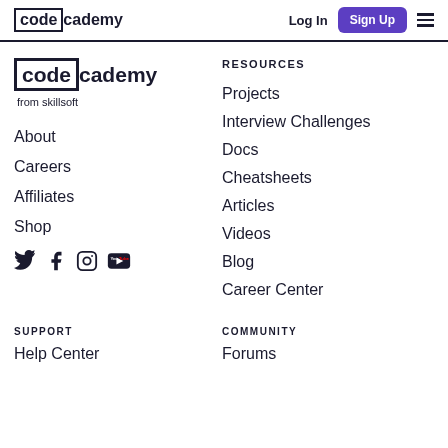Codecademy — Log In | Sign Up
[Figure (logo): Codecademy logo with 'code' in a box and 'cademy' next to it, followed by 'from skillsoft']
About
Careers
Affiliates
Shop
[Figure (illustration): Social media icons: Twitter, Facebook, Instagram, YouTube]
RESOURCES
Projects
Interview Challenges
Docs
Cheatsheets
Articles
Videos
Blog
Career Center
SUPPORT
Help Center
COMMUNITY
Forums